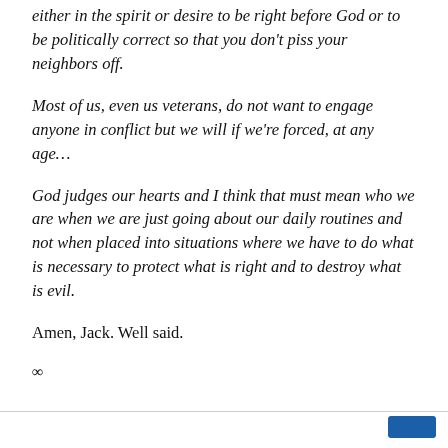either in the spirit or desire to be right before God or to be politically correct so that you don't piss your neighbors off.
Most of us, even us veterans, do not want to engage anyone in conflict but we will if we're forced, at any age…
God judges our hearts and I think that must mean who we are when we are just going about our daily routines and not when placed into situations where we have to do what is necessary to protect what is right and to destroy what is evil.
Amen, Jack. Well said.
∞